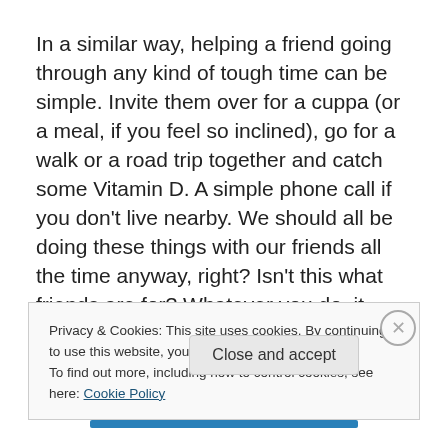In a similar way, helping a friend going through any kind of tough time can be simple. Invite them over for a cuppa (or a meal, if you feel so inclined), go for a walk or a road trip together and catch some Vitamin D. A simple phone call if you don't live nearby. We should all be doing these things with our friends all the time anyway, right? Isn't this what friends are for? Whatever you do, it doesn't need to be extravagant, even if you think it might be nice. Keep it
Privacy & Cookies: This site uses cookies. By continuing to use this website, you agree to their use.
To find out more, including how to control cookies, see here: Cookie Policy
Close and accept